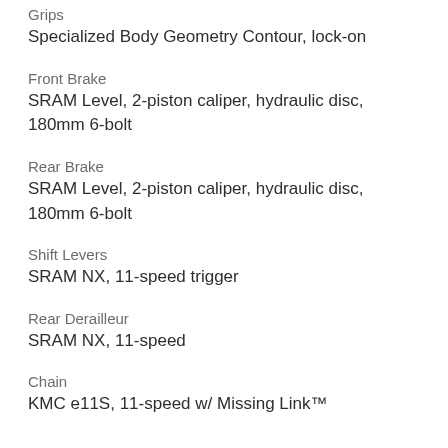Grips
Specialized Body Geometry Contour, lock-on
Front Brake
SRAM Level, 2-piston caliper, hydraulic disc, 180mm 6-bolt
Rear Brake
SRAM Level, 2-piston caliper, hydraulic disc, 180mm 6-bolt
Shift Levers
SRAM NX, 11-speed trigger
Rear Derailleur
SRAM NX, 11-speed
Chain
KMC e11S, 11-speed w/ Missing Link™